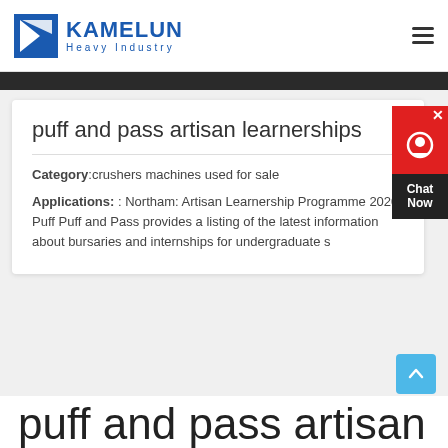KAMELUN Heavy Industry
[Figure (photo): Dark photo strip of industrial machinery at top of page]
puff and pass artisan learnerships
Category:crushers machines used for sale
Applications: : Northam: Artisan Learnership Programme 2020 Puff Puff and Pass provides a listing of the latest information about bursaries and internships for undergraduate s
puff and pass artisan